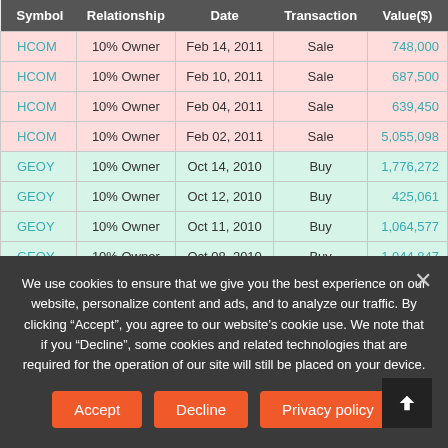| Symbol | Relationship | Date | Transaction | Value($) |
| --- | --- | --- | --- | --- |
| HCOM | 10% Owner | Feb 14, 2011 | Sale | 748,000 |
| HCOM | 10% Owner | Feb 10, 2011 | Sale | 687,500 |
| HCOM | 10% Owner | Feb 04, 2011 | Sale | 639,450 |
| HCOM | 10% Owner | Feb 02, 2011 | Sale | 5,055,098 |
| GEOY | 10% Owner | Oct 14, 2010 | Buy | 1,776,272 |
| GEOY | 10% Owner | Oct 12, 2010 | Buy | 425,061 |
| GEOY | 10% Owner | Oct 11, 2010 | Buy | 1,064,577 |
| GEOY | 10% Owner | Oct 08, 2010 | Buy | 1,044,847 |
| GEOY | 10% Owner | Oct 07, 2010 | Buy | 4,540,712 |
We use cookies to ensure that we give you the best experience on our website, personalize content and ads, and to analyze our traffic. By clicking “Accept”, you agree to our website’s cookie use. We note that if you “Decline”, some cookies and related technologies that are required for the operation of our site will still be placed on your device.